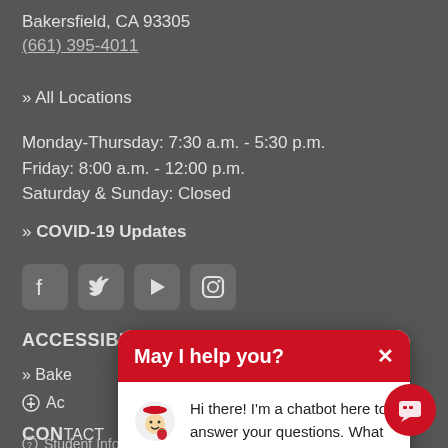Bakersfield, CA 93305
(661) 395-4011
» All Locations
Monday-Thursday: 7:30 a.m. - 5:30 p.m.
Friday: 8:00 a.m. - 12:00 p.m.
Saturday & Sunday: Closed
» COVID-19 Updates
[Figure (other): Social media icons: Facebook, Twitter, YouTube, Instagram]
ACCESSIBILITY HELP
» Bake...
Ac...
CON...
Student Information Desk
[Figure (screenshot): Chatbot popup with header 'May I help you?' and message 'Hi there! I'm a chatbot here to answer your questions. What would you like to know?']